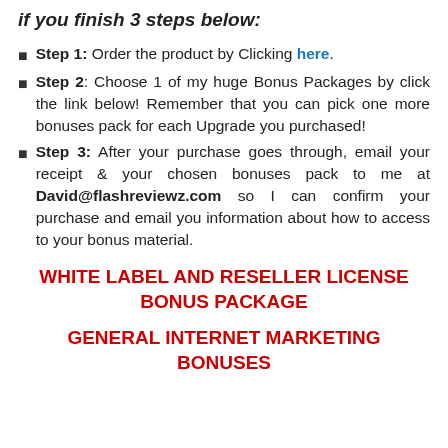if you finish 3 steps below:
Step 1: Order the product by Clicking here.
Step 2: Choose 1 of my huge Bonus Packages by click the link below! Remember that you can pick one more bonuses pack for each Upgrade you purchased!
Step 3: After your purchase goes through, email your receipt & your chosen bonuses pack to me at David@flashreviewz.com so I can confirm your purchase and email you information about how to access to your bonus material.
WHITE LABEL AND RESELLER LICENSE BONUS PACKAGE
GENERAL INTERNET MARKETING BONUSES